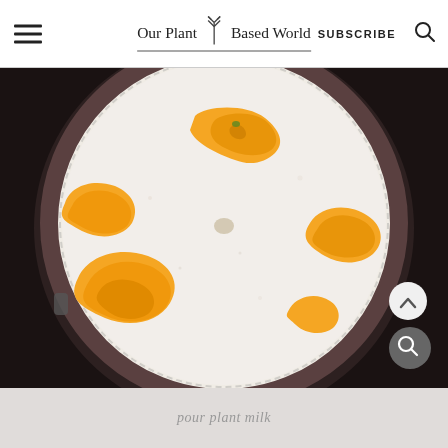Our Plant Based World — SUBSCRIBE
[Figure (photo): Top-down view of a blender container filled with white plant milk and chunks of orange squash or pumpkin floating on the surface, dark background]
pour plant milk